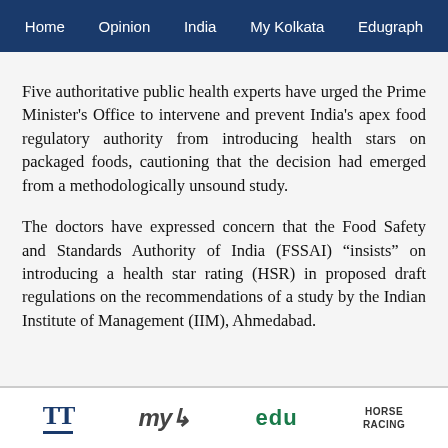Home  Opinion  India  My Kolkata  Edugraph
Five authoritative public health experts have urged the Prime Minister's Office to intervene and prevent India's apex food regulatory authority from introducing health stars on packaged foods, cautioning that the decision had emerged from a methodologically unsound study.
The doctors have expressed concern that the Food Safety and Standards Authority of India (FSSAI) “insists” on introducing a health star rating (HSR) in proposed draft regulations on the recommendations of a study by the Indian Institute of Management (IIM), Ahmedabad.
TT  my  edu  HORSE RACING